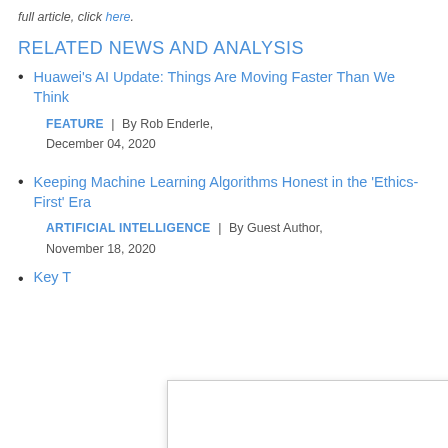full article, click here.
RELATED NEWS AND ANALYSIS
Huawei's AI Update: Things Are Moving Faster Than We Think
FEATURE |  By Rob Enderle, December 04, 2020
Keeping Machine Learning Algorithms Honest in the 'Ethics-First' Era
ARTIFICIAL INTELLIGENCE |  By Guest Author, November 18, 2020
Key T